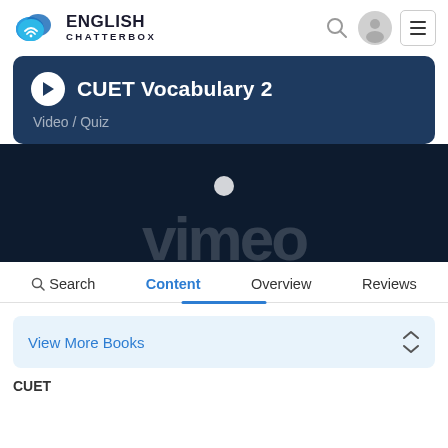ENGLISH CHATTERBOX
CUET Vocabulary 2
Video / Quiz
[Figure (screenshot): Dark blue video thumbnail area with Vimeo branding text partially visible at the bottom]
Search  Content  Overview  Reviews
View More Books